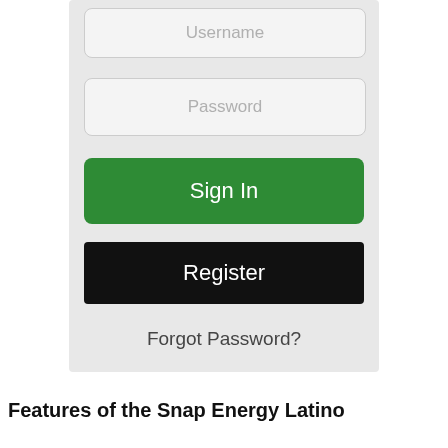[Figure (screenshot): Mobile app login screen showing Username field (top, partial), Password field, green Sign In button, black Register button, and Forgot Password? link on light gray background]
Username
Password
Sign In
Register
Forgot Password?
Features of the Snap Energy Latino